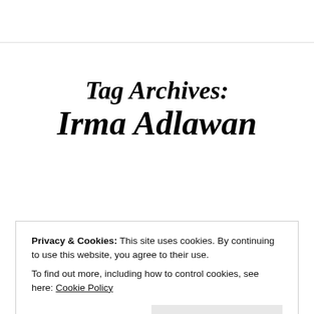Tag Archives: Irma Adlawan
Privacy & Cookies: This site uses cookies. By continuing to use this website, you agree to their use.
To find out more, including how to control cookies, see here: Cookie Policy
Close and accept
The Cure Fails